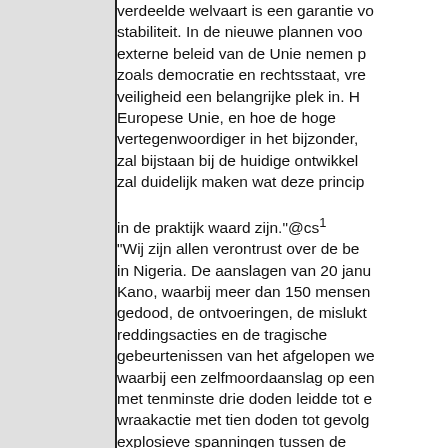verdeelde welvaart is een garantie voor stabiliteit. In de nieuwe plannen voor het externe beleid van de Unie nemen principes zoals democratie en rechtsstaat, vrede en veiligheid een belangrijke plek in. Hoe de Europese Unie, en hoe de hoge vertegenwoordiger in het bijzonder, hierbij zal bijstaan bij de huidige ontwikkelingen zal duidelijk maken wat deze principes in de praktijk waard zijn."@cs¹ "Wij zijn allen verontrust over de berichten in Nigeria. De aanslagen van 20 januari op Kano, waarbij meer dan 150 mensen werden gedood, de ontvoeringen, de mislukte reddingsacties en de tragische gebeurtenissen van het afgelopen weekend, waarbij een zelfmoordaanslag op een markt met tenminste drie doden leidde tot een wraakactie met tien doden tot gevolg, de explosieve spanningen tussen de bevolkingsgroepen toont de onmacht aan van de Nigeriaanse overheid. Om stabiliteit te creëren zal er een dialoog moeten zijn tussen de religies en tussen de regio's; bovenal moet de rechtsstaat function